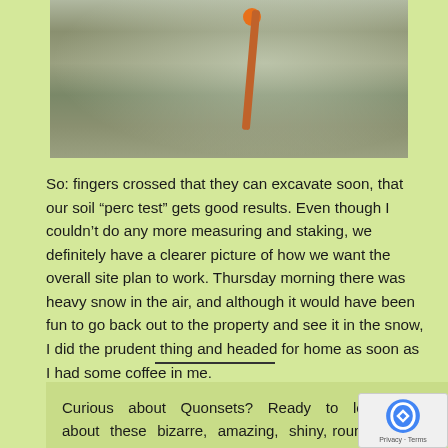[Figure (photo): Frost-covered shrubs and vegetation in winter, with an orange stake or marker visible in the center of the image.]
So: fingers crossed that they can excavate soon, that our soil “perc test” gets good results. Even though I couldn’t do any more measuring and staking, we definitely have a clearer picture of how we want the overall site plan to work. Thursday morning there was heavy snow in the air, and although it would have been fun to go back out to the property and see it in the snow, I did the prudent thing and headed for home as soon as I had some coffee in me.
Curious about Quonsets? Ready to learn more about these bizarre, amazing, shiny, round, prefab structures? Drop your info